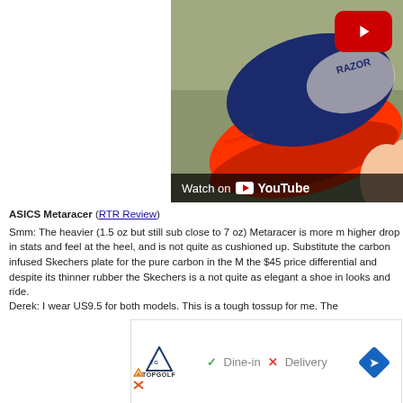[Figure (screenshot): YouTube video thumbnail showing a red-soled running shoe (ASICS/Skechers) held in a hand, with a YouTube play button in the top right and 'Watch on YouTube' text at the bottom.]
ASICS Metaracer (RTR Review)
Smm: The heavier (1.5 oz but still sub close to 7 oz) Metaracer is more m higher drop in stats and feel at the heel, and is not quite as cushioned up. Substitute the carbon infused Skechers plate for the pure carbon in the M the $45 price differential and despite its thinner rubber the Skechers is a not quite as elegant a shoe in looks and ride.
Derek: I wear US9.5 for both models. This is a tough tossup for me. The
[Figure (screenshot): Advertisement box showing Topgolf logo, checkmark with 'Dine-in', X with 'Delivery', and a blue navigation diamond icon.]